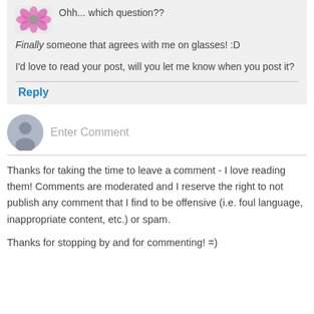Ohh... which question??
Finally someone that agrees with me on glasses! :D
I'd love to read your post, will you let me know when you post it?
Reply
Enter Comment
Thanks for taking the time to leave a comment - I love reading them! Comments are moderated and I reserve the right to not publish any comment that I find to be offensive (i.e. foul language, inappropriate content, etc.) or spam.
Thanks for stopping by and for commenting! =)